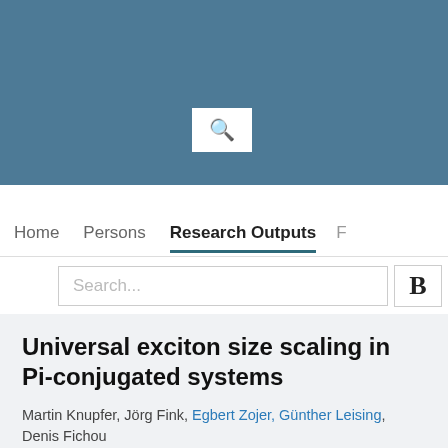[Figure (screenshot): Teal/blue-grey university research portal header bar with a white search icon box showing a magnifying glass symbol]
Home  Persons  Research Outputs  F
Search...  B
Universal exciton size scaling in Pi-conjugated systems
Martin Knupfer, Jörg Fink, Egbert Zojer, Günther Leising, Denis Fichou
Institute of Solid State Physics (5130)
Research output: Contribution to journal › Article › peer-review